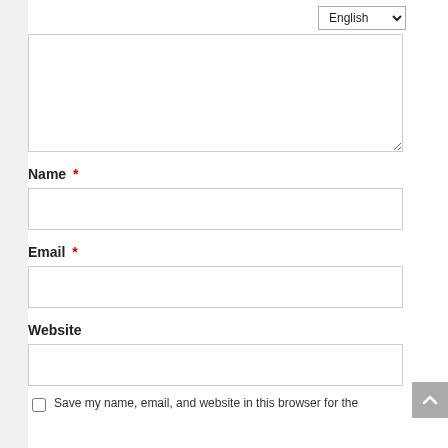[Figure (screenshot): Language selector dropdown showing 'English' with chevron]
[Figure (screenshot): Empty textarea input box with resize handle at bottom right]
Name *
[Figure (screenshot): Name text input field, empty]
Email *
[Figure (screenshot): Email text input field, empty]
Website
[Figure (screenshot): Website text input field, empty]
Save my name, email, and website in this browser for the
[Figure (screenshot): Scroll to top button with upward chevron icon]